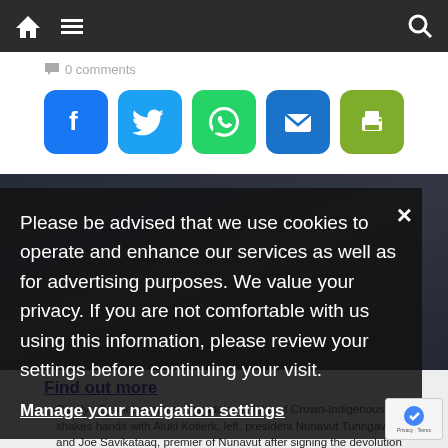Navigation bar with home, menu, and search icons
0 comments
[Figure (infographic): Social sharing icons: Facebook (blue), Twitter (light blue), WhatsApp (green), Email (blue), Print (olive green)]
Please be advised that we use cookies to operate and enhance our services as well as for advertising purposes. We value your privacy. If you are not comfortable with us using this information, please review your settings before continuing your visit.
Manage your navigation settings
Find out more
Carolyn Bennett, centre, Canada's minister of Crown-Indigenous Relations, shakes hands with Aluki Kotierk, left, president Nunavut Tunngavik Inc., and Joe Savikataaq, premier of Nunavut after signing the devolution agreement-in-principle. (Sara